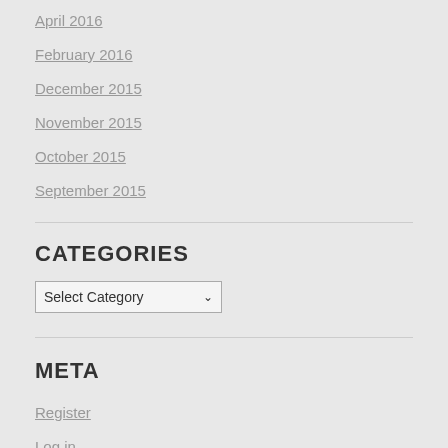April 2016
February 2016
December 2015
November 2015
October 2015
September 2015
CATEGORIES
Select Category
META
Register
Log in